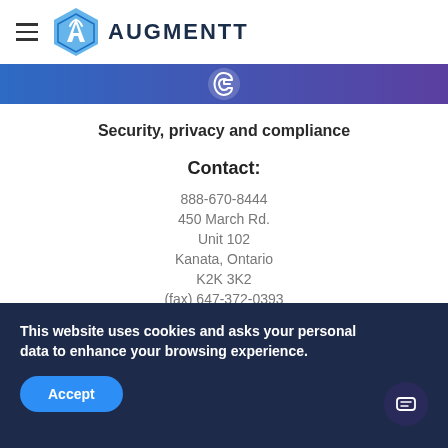[Figure (logo): Augmentt logo with hexagonal A icon and AUGMENTT wordmark in dark navy]
[Figure (other): Blue to purple gradient banner with a white circular icon in the center]
Security, privacy and compliance
Contact:
888-670-8444
450 March Rd.
Unit 102
Kanata, Ontario
K2K 3K2
(fax) 647-372-0393
Subscribe
This website uses cookies and asks your personal data to enhance your browsing experience.